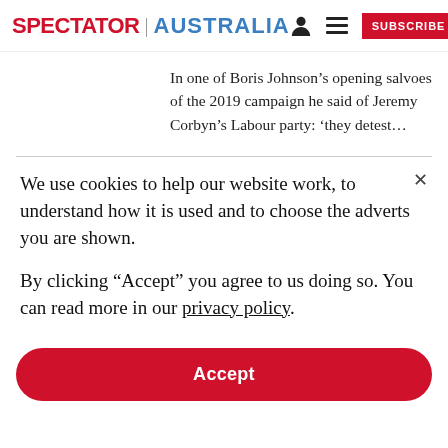SPECTATOR | AUSTRALIA
In one of Boris Johnson’s opening salvoes of the 2019 campaign he said of Jeremy Corbyn’s Labour party: ‘they detest…
We use cookies to help our website work, to understand how it is used and to choose the adverts you are shown.

By clicking "Accept" you agree to us doing so. You can read more in our privacy policy.
Accept